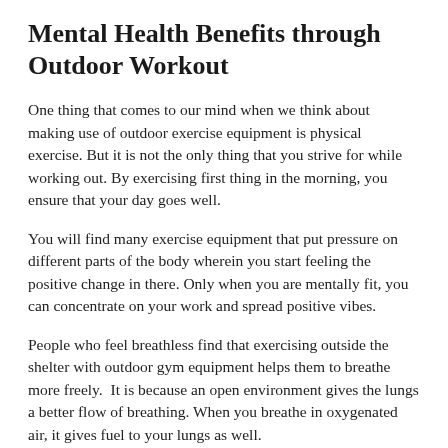Mental Health Benefits through Outdoor Workout
One thing that comes to our mind when we think about making use of outdoor exercise equipment is physical exercise. But it is not the only thing that you strive for while working out. By exercising first thing in the morning, you ensure that your day goes well.
You will find many exercise equipment that put pressure on different parts of the body wherein you start feeling the positive change in there. Only when you are mentally fit, you can concentrate on your work and spread positive vibes.
People who feel breathless find that exercising outside the shelter with outdoor gym equipment helps them to breathe more freely.  It is because an open environment gives the lungs a better flow of breathing. When you breathe in oxygenated air, it gives fuel to your lungs as well.